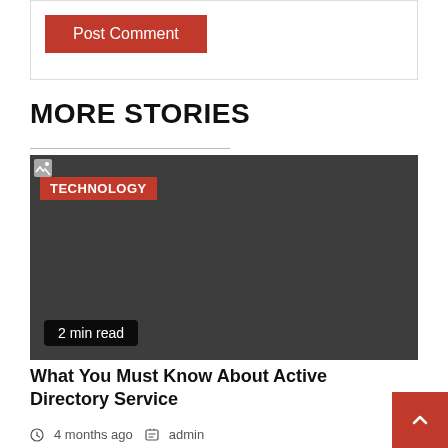[Figure (other): Post Comment button inside a bordered box]
MORE STORIES
[Figure (photo): Dark gray placeholder image with TECHNOLOGY badge and 2 min read label]
What You Must Know About Active Directory Service
4 months ago  admin